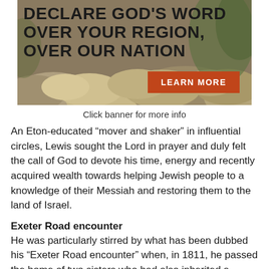[Figure (illustration): Banner image with rocky landscape background and bold text reading 'DECLARE GOD'S WORD OVER YOUR REGION, OVER OUR NATION' with a brown/orange 'LEARN MORE' button in the bottom right corner.]
Click banner for more info
An Eton-educated “mover and shaker” in influential circles, Lewis sought the Lord in prayer and duly felt the call of God to devote his time, energy and recently acquired wealth towards helping Jewish people to a knowledge of their Messiah and restoring them to the land of Israel.
Exeter Road encounter
He was particularly stirred by what has been dubbed his “Exeter Road encounter” when, in 1811, he passed the home of two sisters who had also inherited a